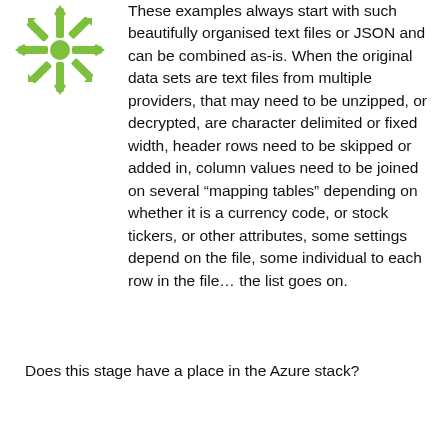[Figure (logo): Green snowflake/star logo]
These examples always start with such beautifully organised text files or JSON and can be combined as-is. When the original data sets are text files from multiple providers, that may need to be unzipped, or decrypted, are character delimited or fixed width, header rows need to be skipped or added in, column values need to be joined on several “mapping tables” depending on whether it is a currency code, or stock tickers, or other attributes, some settings depend on the file, some individual to each row in the file… the list goes on.
Does this stage have a place in the Azure stack?